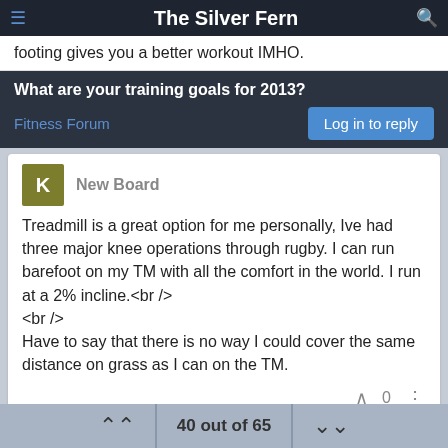The Silver Fern
footing gives you a better workout IMHO.
What are your training goals for 2013?
Fitness Forum
Log in to reply
New Board
Treadmill is a great option for me personally, Ive had three major knee operations through rugby. I can run barefoot on my TM with all the comfort in the world. I run at a 2% incline.<br />
<br />
Have to say that there is no way I could cover the same distance on grass as I can on the TM.
40 out of 65